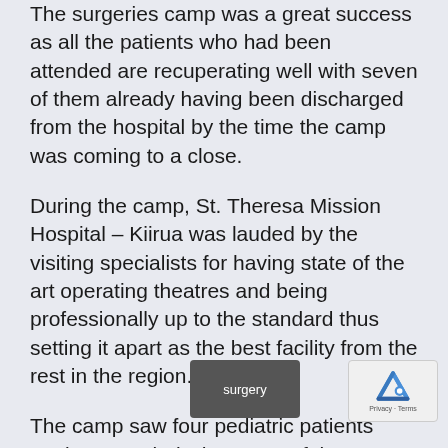The surgeries camp was a great success as all the patients who had been attended are recuperating well with seven of them already having been discharged from the hospital by the time the camp was coming to a close.
During the camp, St. Theresa Mission Hospital – Kiirua was lauded by the visiting specialists for having state of the art operating theatres and being professionally up to the standard thus setting it apart as the best facility from the rest in the region.
The camp saw four pediatric patients getting attended where one of them underwent the Pyeloplasty, a procedure that is not easily accessible owing to the nature of the surgery costs involved.